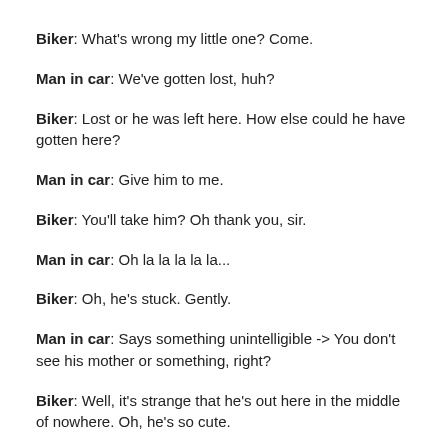Biker: What's wrong my little one? Come.
Man in car: We've gotten lost, huh?
Biker: Lost or he was left here. How else could he have gotten here?
Man in car: Give him to me.
Biker: You'll take him? Oh thank you, sir.
Man in car: Oh la la la la la...
Biker: Oh, he's stuck. Gently.
Man in car: Says something unintelligible -> You don't see his mother or something, right?
Biker: Well, it's strange that he's out here in the middle of nowhere. Oh, he's so cute.